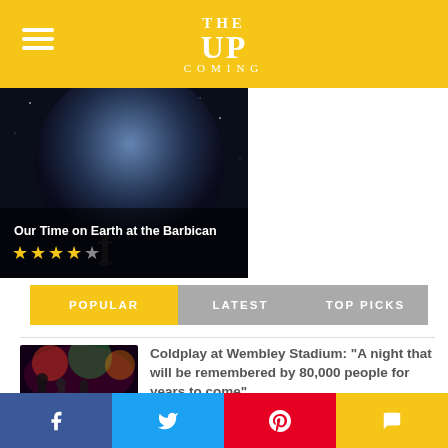THE UP COMING
[Figure (photo): Dark atmospheric image of a large illuminated planet/sphere installation with a human silhouette, titled 'Our Time on Earth at the Barbican', rated 4.5 stars]
Our Time on Earth at the Barbican
POPULAR | LATEST | TOP PICKS
[Figure (photo): Concert photo of Coldplay performing on stage with colorful lighting]
Coldplay at Wembley Stadium: “A night that will be remembered by 80,000 people for years to come”
[Figure (photo): Theatre photo showing two performers on stage at Lion & Unicorn Theatre]
Camden Fringe 2022: The Man Who Wouldn’t Be Murdered at Lion & Unicorn Theatre